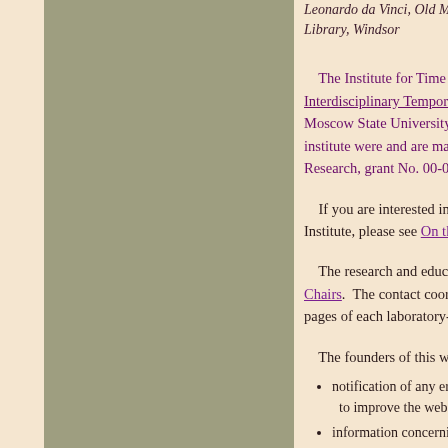Leonardo da Vinci, Old Man Seated, Library, Windsor
The Institute for Time Nature Explorations. Interdisciplinary Temporology Seminars at Moscow State University since 1984. Activities of the institute were and are made possible by Russian Foundation for Basic Research, grant No. 00-07-90211.
If you are interested in knowing more about the Institute, please see On the Institute page.
The research and educational work is conducted via Laboratory-Chairs. The contact coordinates of each are listed on the pages of each laboratory-chair.
The founders of this web site will be grateful for:
notification of any errors on the site and suggestions to improve the web site;
information concerning any publications that we may incorporate into the institute library;
electronic versions of your publications on Time and Universe to be contributed to the institute library;
references and sources in the form of books, articles, URLs, electronic publications,
quotes, reflections, aphorisms, etc., pertaining to the nature of time from scient